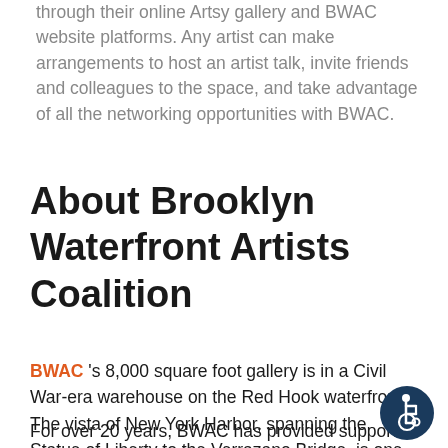through their online Artsy gallery and BWAC website platforms. Any artist can make arrangements to host an artist talk, invite friends and colleagues to the space, and take advantage of all the networking opportunities with BWAC.
About Brooklyn Waterfront Artists Coalition
BWAC 's 8,000 square foot gallery is in a Civil War-era warehouse on the Red Hook waterfront. The vista of New York Harbor, spanning the Statue of Liberty to the Verrazano Bridge, is one of the best in the city. Gallery-goers enjoy the nearby restaurants, bars, IKEA, and Fairway Market.
For over 20 years, BWAC has provided support for
[Figure (other): Accessibility icon - blue circle with wheelchair user symbol in white]